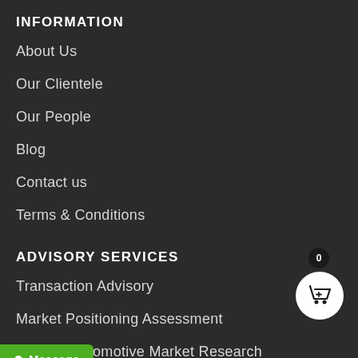INFORMATION
About Us
Our Clientele
Our People
Blog
Contact us
Terms & Conditions
ADVISORY SERVICES
Transaction Advisory
Market Positioning Assessment
Custom Automotive Market Research
...Advisory
Message
0